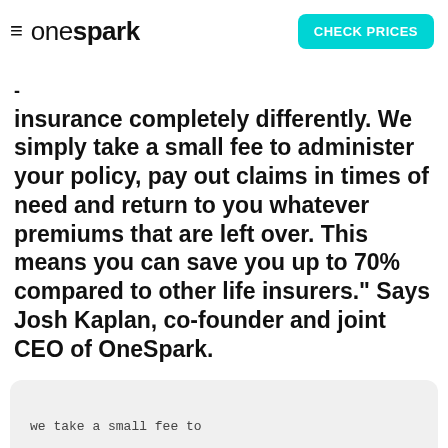onespark | CHECK PRICES
- insurance completely differently. We simply take a small fee to administer your policy, pay out claims in times of need and return to you whatever premiums that are left over. This means you can save you up to 70% compared to other life insurers." Says Josh Kaplan, co-founder and joint CEO of OneSpark.
we take a small fee to